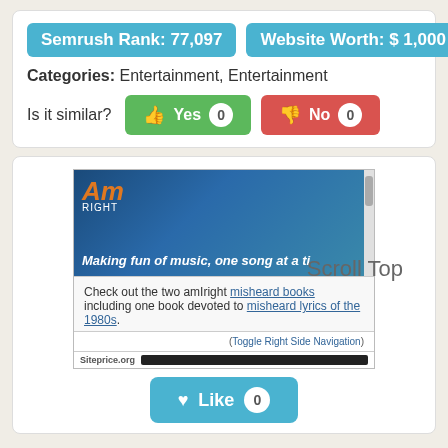Semrush Rank: 77,097    Website Worth: $ 1,000
Categories: Entertainment, Entertainment
Is it similar?  Yes 0  No 0
[Figure (screenshot): Screenshot of amIright website showing logo, tagline 'Making fun of music, one song at a ti...' and text about misheard books. Also shows 'Scroll Top' text and siteprice.org footer bar.]
Like 0